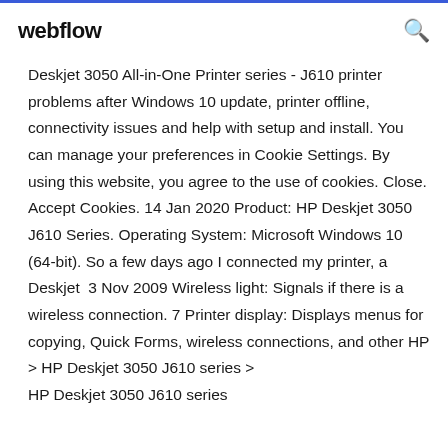webflow
Deskjet 3050 All-in-One Printer series - J610 printer problems after Windows 10 update, printer offline, connectivity issues and help with setup and install. You can manage your preferences in Cookie Settings. By using this website, you agree to the use of cookies. Close. Accept Cookies. 14 Jan 2020 Product: HP Deskjet 3050 J610 Series. Operating System: Microsoft Windows 10 (64-bit). So a few days ago I connected my printer, a Deskjet  3 Nov 2009 Wireless light: Signals if there is a wireless connection. 7 Printer display: Displays menus for copying, Quick Forms, wireless connections, and other HP > HP Deskjet 3050 J610 series > HP Deskjet 3050 J610 series